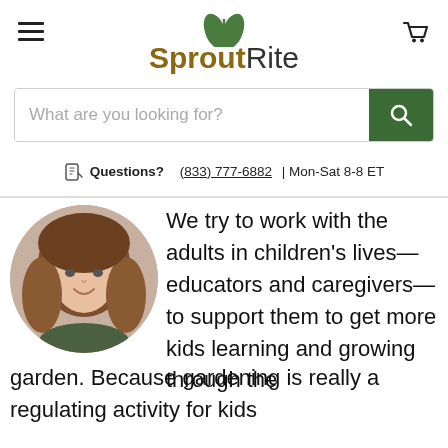SproutRite
What are you looking for?
Questions? (833) 777-6882 | Mon-Sat 8-8 ET
[Figure (photo): Circular portrait photo of a smiling woman with long brown hair, wearing a dark green top]
We try to work with the adults in children's lives—educators and caregivers—to support them to get more kids learning and growing through the garden. Because gardening is really a regulating activity for kids